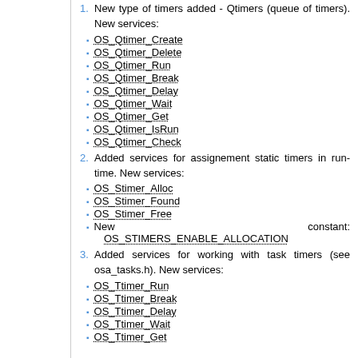1. New type of timers added - Qtimers (queue of timers). New services:
OS_Qtimer_Create
OS_Qtimer_Delete
OS_Qtimer_Run
OS_Qtimer_Break
OS_Qtimer_Delay
OS_Qtimer_Wait
OS_Qtimer_Get
OS_Qtimer_IsRun
OS_Qtimer_Check
2. Added services for assignement static timers in run-time. New services:
OS_Stimer_Alloc
OS_Stimer_Found
OS_Stimer_Free
New constant: OS_STIMERS_ENABLE_ALLOCATION
3. Added services for working with task timers (see osa_tasks.h). New services:
OS_Ttimer_Run
OS_Ttimer_Break
OS_Ttimer_Delay
OS_Ttimer_Wait
OS_Ttimer_Get